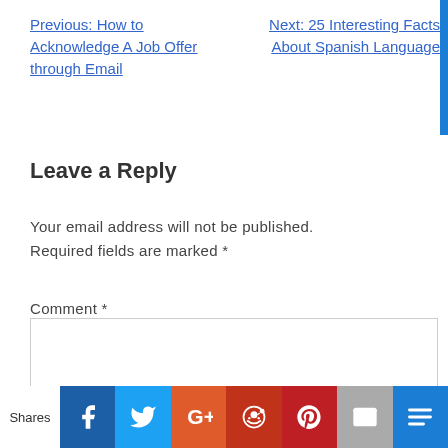Previous: How to Acknowledge A Job Offer through Email
Next: 25 Interesting Facts About Spanish Language
Leave a Reply
Your email address will not be published. Required fields are marked *
Comment *